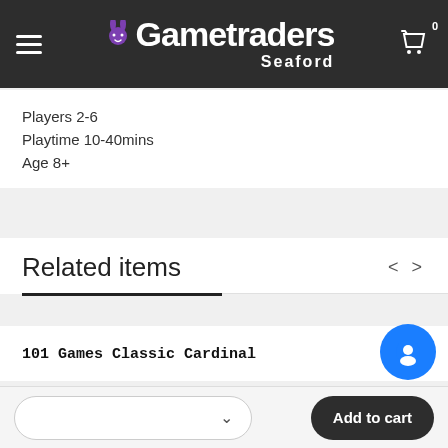Gametraders Seaford
Players 2-6
Playtime 10-40mins
Age 8+
Related items
101 Games Classic Cardinal
Add to cart